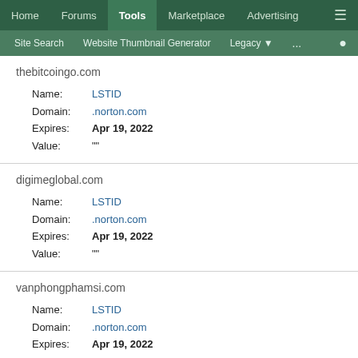Home | Forums | Tools | Marketplace | Advertising
Site Search | Website Thumbnail Generator | Legacy | ...
thebitcoingo.com
Name: LSTID
Domain: .norton.com
Expires: Apr 19, 2022
Value: ""
digimeglobal.com
Name: LSTID
Domain: .norton.com
Expires: Apr 19, 2022
Value: ""
vanphongphamsi.com
Name: LSTID
Domain: .norton.com
Expires: Apr 19, 2022
Value: ""
isnad-ps.com
Name: LSTID
Domain: .norton.com
Expires: Apr 19, 2022